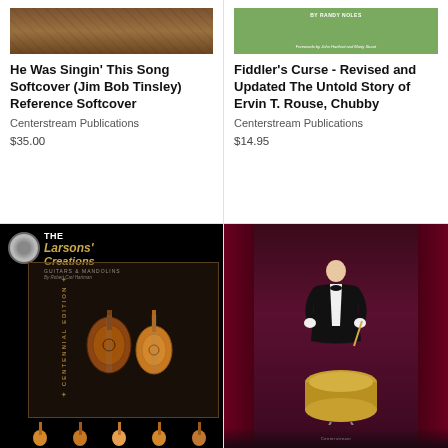[Figure (photo): Book cover top portion of 'He Was Singin' This Song' by Jim Bob Tinsley, brown/wood texture]
He Was Singin’ This Song Softcover (Jim Bob Tinsley) Reference Softcover
Centerstream Publications
$35.00
[Figure (photo): Book cover top portion of 'Fiddler's Curse - Revised and Updated The Untold Story of Ervin T. Rouse, Chubby', green background with 'BY RANDY NOLES' and 'Forewords by John Hartford and Marty Stuart']
Fiddler’s Curse - Revised and Updated The Untold Story of Ervin T. Rouse, Chubby
Centerstream Publications
$14.95
[Figure (photo): Book cover: The Larsons' Creations - Guitars & Mandolins by Robert Carl Hartman, Centennial Edition, black background with stringed instruments]
[Figure (photo): Book cover: Billy Gladstone by Chet Falzerano, dark maroon background with man in tuxedo playing drums]